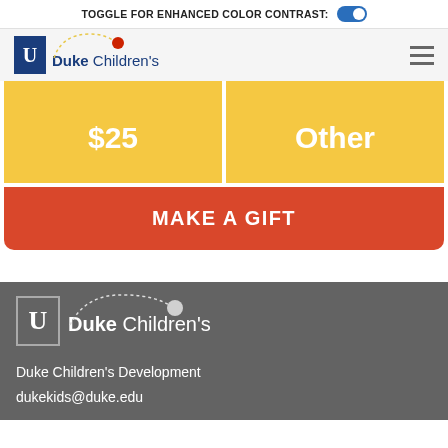TOGGLE FOR ENHANCED COLOR CONTRAST:
[Figure (logo): Duke Children's logo with dotted arc and red circle above, blue shield icon with U, in nav header]
$25
Other
MAKE A GIFT
[Figure (logo): Duke Children's logo in white/gray on dark gray footer background]
Duke Children's Development
dukekids@duke.edu